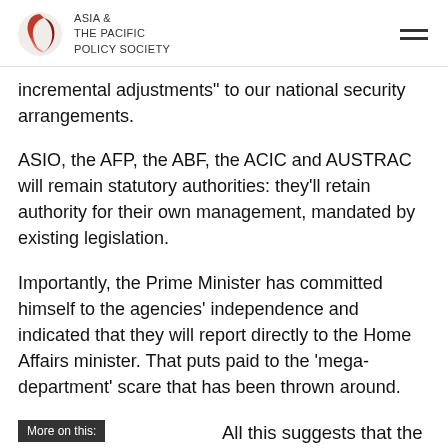ASIA & THE PACIFIC POLICY SOCIETY
incremental adjustments" to our national security arrangements.
ASIO, the AFP, the ABF, the ACIC and AUSTRAC will remain statutory authorities: they'll retain authority for their own management, mandated by existing legislation.
Importantly, the Prime Minister has committed himself to the agencies' independence and indicated that they will report directly to the Home Affairs minister. That puts paid to the 'mega-department' scare that has been thrown around.
More on this:
[Figure (photo): Partial image with blue background and partial text 'ional']
All this suggests that the Home Affairs portfolio won't